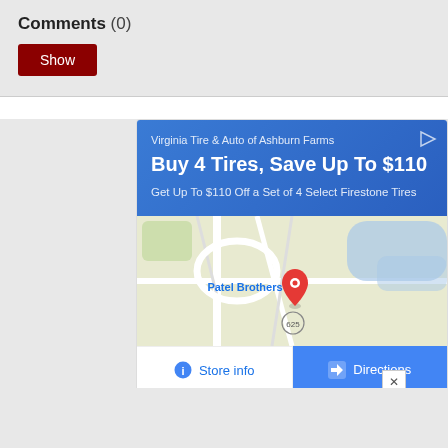Comments (0)
Show
[Figure (screenshot): Advertisement for Virginia Tire & Auto of Ashburn Farms showing a blue banner with text 'Buy 4 Tires, Save Up To $110' and 'Get Up To $110 Off a Set of 4 Select Firestone Tires', below which is a Google Maps view showing 'Patel Brothers' location marker, and buttons for 'Store info' and 'Directions']